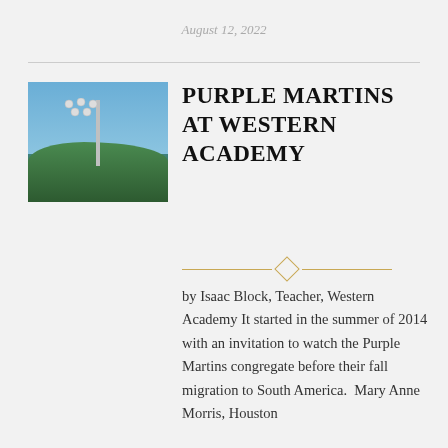August 12, 2022
[Figure (photo): Outdoor photo showing a tall pole with lights or birdhouses at the top, surrounded by green trees against a blue sky, likely a Purple Martin nesting structure.]
PURPLE MARTINS AT WESTERN ACADEMY
by Isaac Block, Teacher, Western Academy It started in the summer of 2014 with an invitation to watch the Purple Martins congregate before their fall migration to South America.  Mary Anne Morris, Houston